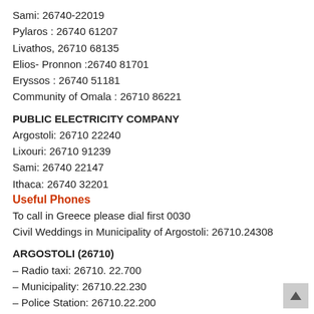Sami: 26740-22019
Pylaros : 26740 61207
Livathos, 26710 68135
Elios- Pronnon :26740 81701
Eryssos : 26740 51181
Community of Omala : 26710 86221
PUBLIC ELECTRICITY COMPANY
Argostoli: 26710 22240
Lixouri: 26710 91239
Sami: 26740 22147
Ithaca: 26740 32201
Useful Phones
To call in Greece please dial first 0030
Civil Weddings in Municipality of Argostoli: 26710.24308
ARGOSTOLI (26710)
– Radio taxi: 26710. 22.700
– Municipality: 26710.22.230
– Police Station: 26710.22.200
– Port Authority: 26710.22.224
– Tourist Office: 26710.22.248
– Shipping Agency: 26710.22.000